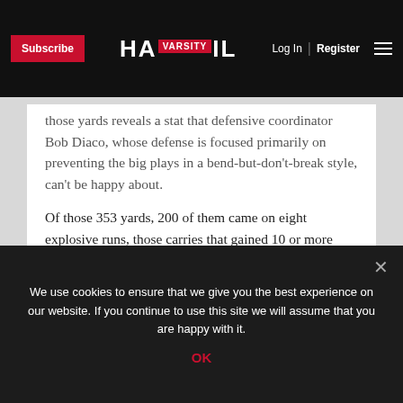Subscribe | HAIL VARSITY | Log In | Register
those yards reveals a stat that defensive coordinator Bob Diaco, whose defense is focused primarily on preventing the big plays in a bend-but-don't-break style, can't be happy about.
Of those 353 yards, 200 of them came on eight explosive runs, those carries that gained 10 or more yards. Nebraska allowed runs of 30, 10, 75, 10, 15, 21 and 24 yards to the Badgers, and it was those plays where the defense not only bent but shattered that made the difference in the game.
We use cookies to ensure that we give you the best experience on our website. If you continue to use this site we will assume that you are happy with it.
OK